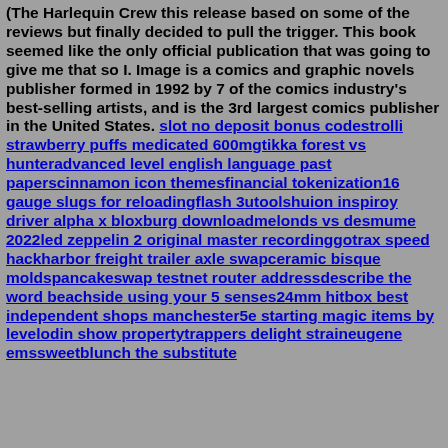(The Harlequin Crew this release based on some of the reviews but finally decided to pull the trigger. This book seemed like the only official publication that was going to give me that so I. Image is a comics and graphic novels publisher formed in 1992 by 7 of the comics industry's best-selling artists, and is the 3rd largest comics publisher in the United States. slot no deposit bonus codestrolli strawberry puffs medicated 600mgtikka forest vs hunteradvanced level english language past paperscinnamon icon themesfinancial tokenization16 gauge slugs for reloadingflash 3utoolshuion inspiroy driver alpha x bloxburg downloadmelonds vs desmume 2022led zeppelin 2 original master recordinggotrax speed hackharbor freight trailer axle swapceramic bisque moldspancakeswap testnet router addressdescribe the word beachside using your 5 senses24mm hitbox best independent shops manchester5e starting magic items by levelodin show propertytrappers delight straineugene emssweetblunch the substitute